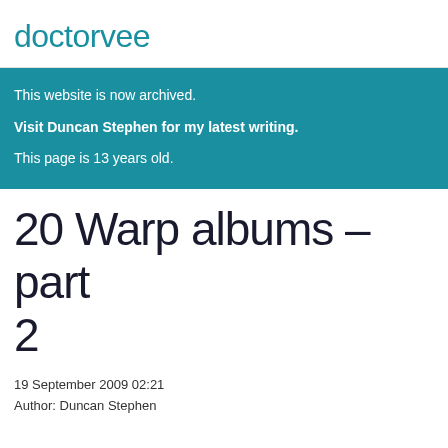doctorvee
This website is now archived.
Visit Duncan Stephen for my latest writing.
This page is 13 years old.
20 Warp albums – part 2
19 September 2009 02:21
Author: Duncan Stephen